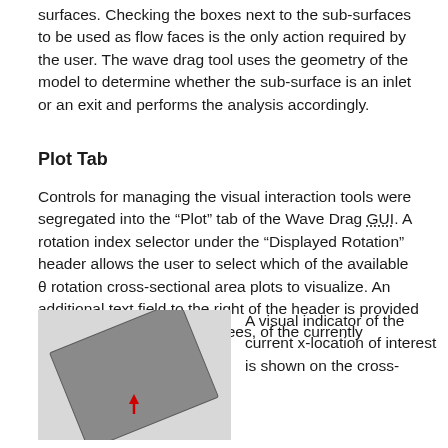surfaces. Checking the boxes next to the sub-surfaces to be used as flow faces is the only action required by the user. The wave drag tool uses the geometry of the model to determine whether the sub-surface is an inlet or an exit and performs the analysis accordingly.
Plot Tab
Controls for managing the visual interaction tools were segregated into the “Plot” tab of the Wave Drag GUI. A rotation index selector under the “Displayed Rotation” header allows the user to select which of the available θ rotation cross-sectional area plots to visualize. An additional text field to the right of the header is provided to display the value, in degrees, of the currently selected θ.
[Figure (illustration): A tilted gray rectangular panel with a small red arrow/marker near the center bottom, shown against a light gray background. Represents a visual indicator of a cross-sectional area plot.]
A visual indicator of the current x-location of interest is shown on the cross-